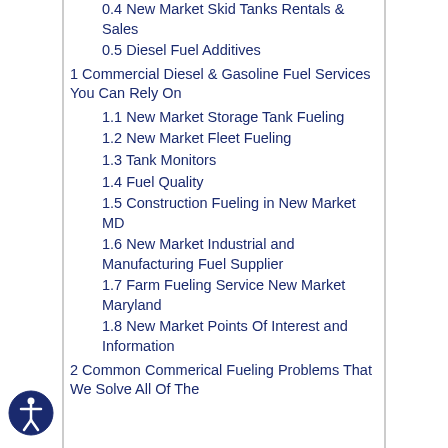0.4 New Market Skid Tanks Rentals & Sales
0.5 Diesel Fuel Additives
1 Commercial Diesel & Gasoline Fuel Services You Can Rely On
1.1 New Market Storage Tank Fueling
1.2 New Market Fleet Fueling
1.3 Tank Monitors
1.4 Fuel Quality
1.5 Construction Fueling in New Market MD
1.6 New Market Industrial and Manufacturing Fuel Supplier
1.7 Farm Fueling Service New Market Maryland
1.8 New Market Points Of Interest and Information
2 Common Commerical Fueling Problems That We Solve All Of The